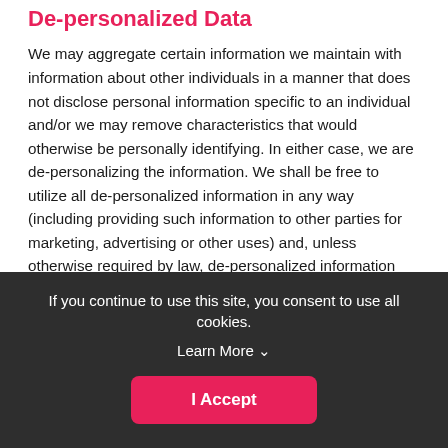De-personalized Data
We may aggregate certain information we maintain with information about other individuals in a manner that does not disclose personal information specific to an individual and/or we may remove characteristics that would otherwise be personally identifying. In either case, we are de-personalizing the information. We shall be free to utilize all de-personalized information in any way (including providing such information to other parties for marketing, advertising or other uses) and, unless otherwise required by law, de-personalized information shall not be bound by the terms of this Privacy Policy. As always, RunSignup will comply with all applicable laws and governing regulations in the collection, use and disclosure of personally identifiable information.
Links to Third Party Sites
If you continue to use this site, you consent to use all cookies. Learn More ∨
I Accept